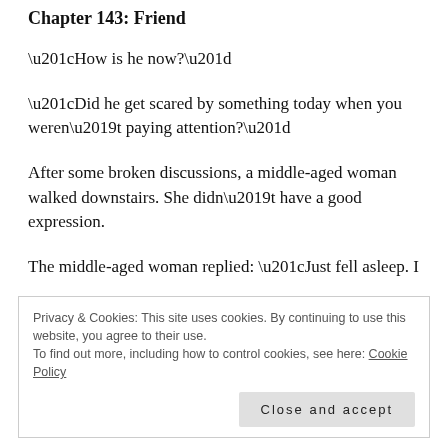Chapter 143: Friend
“How is he now?”
“Did he get scared by something today when you weren’t paying attention?”
After some broken discussions, a middle-aged woman walked downstairs. She didn’t have a good expression.
The middle-aged woman replied: “Just fell asleep. I
Privacy & Cookies: This site uses cookies. By continuing to use this website, you agree to their use.
To find out more, including how to control cookies, see here: Cookie Policy
Close and accept